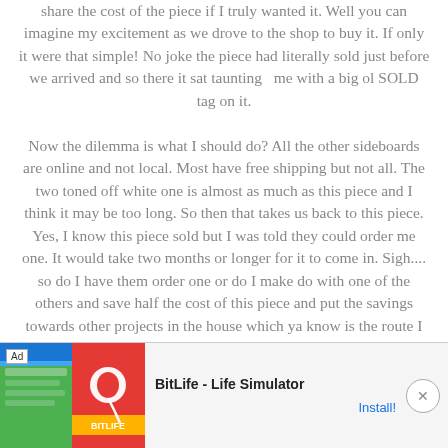share the cost of the piece if I truly wanted it. Well you can imagine my excitement as we drove to the shop to buy it. If only it were that simple! No joke the piece had literally sold just before we arrived and so there it sat taunting  me with a big ol SOLD tag on it.
Now the dilemma is what I should do? All the other sideboards are online and not local. Most have free shipping but not all. The two toned off white one is almost as much as this piece and I think it may be too long. So then that takes us back to this piece. Yes, I know this piece sold but I was told they could order me one. It would take two months or longer for it to come in. Sigh.... so do I have them order one or do I make do with one of the others and save half the cost of this piece and put the savings towards other projects in the house which ya know is the route I normally would take? What piece would you choose?
[Figure (infographic): Advertisement banner for BitLife - Life Simulator app, showing Ad label, colorful game imagery with green and red sections and a sperm icon, app title 'BitLife - Life Simulator', and an 'Install!' button link, with a close (X) button.]